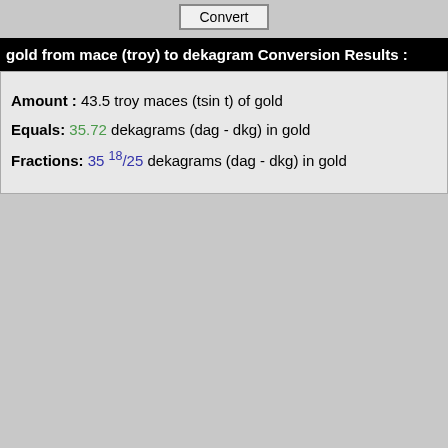gold from mace (troy) to dekagram Conversion Results :
Amount : 43.5 troy maces (tsin t) of gold
Equals: 35.72 dekagrams (dag - dkg) in gold
Fractions: 35 18/25 dekagrams (dag - dkg) in gold